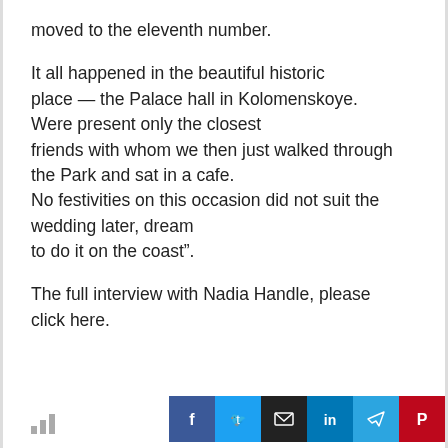moved to the eleventh number.
It all happened in the beautiful historic place — the Palace hall in Kolomenskoye. Were present only the closest friends with whom we then just walked through the Park and sat in a cafe. No festivities on this occasion did not suit the wedding later, dream to do it on the coast”.
The full interview with Nadia Handle, please click here.
[Figure (other): Bar chart icon (signal/stats bars)]
[Figure (other): Social share buttons: Facebook (blue), Twitter (cyan), Email (black), LinkedIn (blue), Telegram (blue), Pinterest (red)]